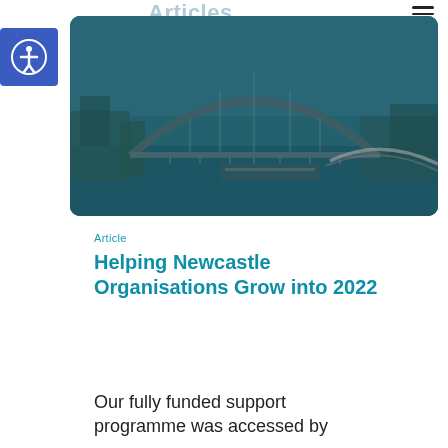Articles
[Figure (photo): Aerial photograph of Newcastle's Tyne Bridge and Swing Bridge over the River Tyne, overlaid with a blue-teal tint. The image shows the steel arch bridge, surrounding buildings, and the river below under a cloudy sky.]
Article
Helping Newcastle Organisations Grow into 2022
Our fully funded support programme was accessed by